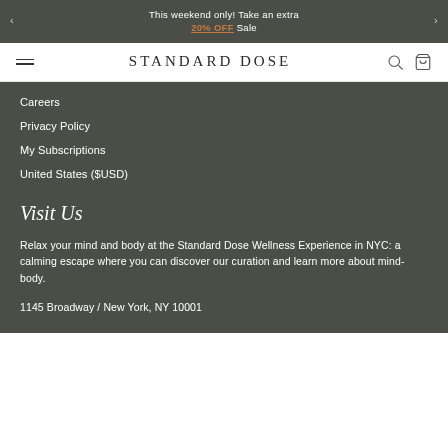This weekend only! Take an extra 20% OFF Sale
STANDARD DOSE
Careers
Privacy Policy
My Subscriptions
United States ($USD)
Visit Us
Relax your mind and body at the Standard Dose Wellness Experience in NYC: a calming escape where you can discover our curation and learn more about mind-body.
1145 Broadway / New York, NY 10001